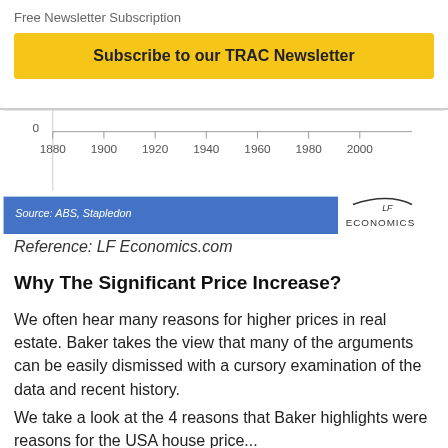×
Free Newsletter Subscription
Subscribe to our TRAC Newsletter
[Figure (continuous-plot): Bottom portion of a line chart showing historical data from 1880 to 2000, with y-axis showing value 0 at bottom. Source: ABS, Stapledon. LF Economics logo visible.]
Reference: LF Economics.com
Why The Significant Price Increase?
We often hear many reasons for higher prices in real estate.  Baker takes the view that many of the arguments can be easily dismissed with a cursory examination of the data and recent history.
We take a look at the 4 reasons that Baker highlights were reasons for the USA house price...